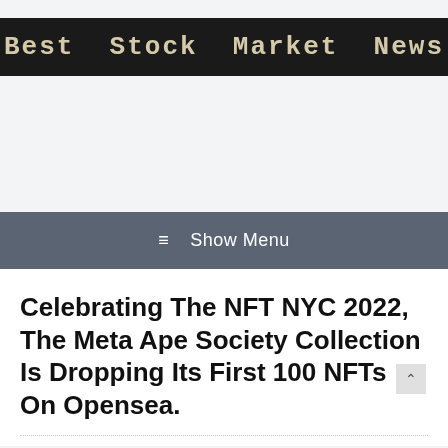Best Stock Market News
[Figure (other): Advertisement / banner placeholder area]
≡  Show Menu
Celebrating The NFT NYC 2022, The Meta Ape Society Collection Is Dropping Its First 100 NFTs On Opensea.